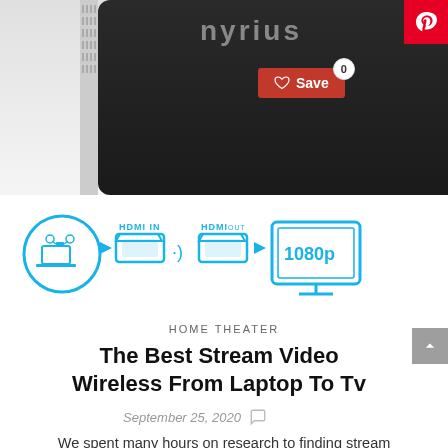[Figure (photo): Nyrius wireless HDMI transmitter/receiver device in black, showing front and side views. Overlaid with a red Save button with heart icon and a badge showing 0.]
[Figure (infographic): Signal flow diagram showing: source device icon in circle → HDMI IN connector → wireless signal → HDMI OUT connector → 1080p monitor icon. All elements in blue outline style.]
HOME THEATER
The Best Stream Video Wireless From Laptop To Tv
September 25, 2020
We spent many hours on research to finding stream video wireless from laptop to tv, reading product